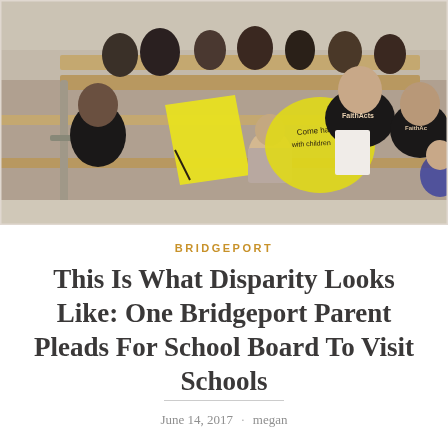[Figure (photo): People seated in rows at what appears to be a school board meeting. Several people wearing black 'FaithActs' t-shirts are visible. A child holds a yellow sign reading 'Come have with children' and another yellow sign is visible. People are holding papers. The room has wood-paneled benches/seating.]
BRIDGEPORT
This Is What Disparity Looks Like: One Bridgeport Parent Pleads For School Board To Visit Schools
June 14, 2017 · megan